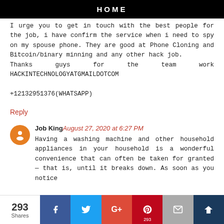HOME
I urge you to get in touch with the best people for the job, i have confirm the service when i need to spy on my spouse phone. They are good at Phone Cloning and Bitcoin/binary minning and any other hack job.
Thanks guys for the team work HACKINTECHNOLOGYATGMAILDOTCOM

+12132951376(WHATSAPP)
Reply
Job King August 27, 2020 at 6:27 PM
Having a washing machine and other household appliances in your household is a wonderful convenience that can often be taken for granted — that is, until it breaks down. As soon as you notice